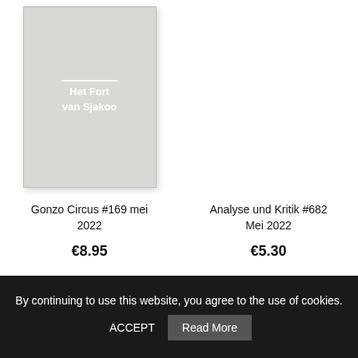[Figure (photo): Book cover of 'Het Fort van Sjakoo' - light grey/beige hardcover with white text reading 'Het Fort van Sjakoo']
Gonzo Circus #169 mei 2022
€8.95
Analyse und Kritik #682 Mei 2022
€5.30
By continuing to use this website, you agree to the use of cookies.  ACCEPT  Read More